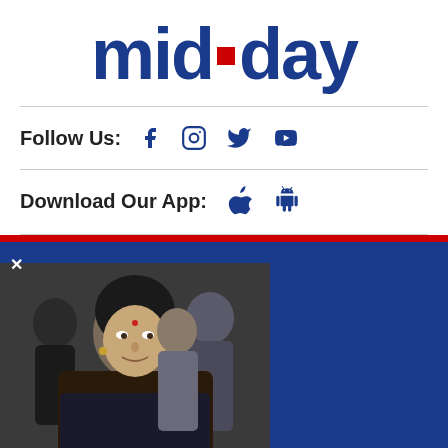[Figure (logo): mid-day logo in dark blue with red square dot between 'mid' and 'day']
Follow Us: [Facebook] [Instagram] [Twitter] [YouTube]
Download Our App: [Apple] [Android]
[Figure (photo): A woman in a black sari with several people behind her, appearing to be in a crowd or press setting]
...ilar technologies, to enhance your browsing experience and provide personalised recommendations. By continuing to use our website, you agree to our Privacy Policy and Cookie Policy.